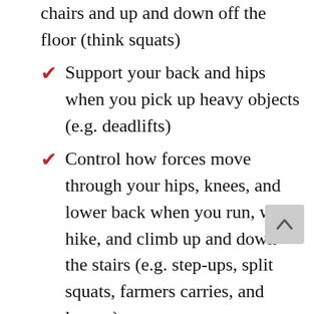chairs and up and down off the floor (think squats)
Support your back and hips when you pick up heavy objects (e.g. deadlifts)
Control how forces move through your hips, knees, and lower back when you run, walk, hike, and climb up and down the stairs (e.g. step-ups, split squats, farmers carries, and lunges)
How do you do this? By strength training!
Best exercises to